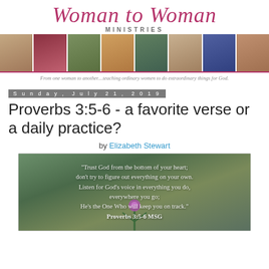[Figure (logo): Woman to Woman Ministries logo with script text and MINISTRIES subtitle]
[Figure (photo): Banner strip of 8 portrait photos of women with mauve/pink background]
From one woman to another....teaching ordinary women to do extraordinary things for God.
Sunday, July 21, 2019
Proverbs 3:5-6 - a favorite verse or a daily practice?
by Elizabeth Stewart
[Figure (photo): Nature image with thistle plant and overlaid Bible verse text: "Trust God from the bottom of your heart; don't try to figure out everything on your own. Listen for God's voice in everything you do, everywhere you go; He's the One Who will keep you on track." Proverbs 3:5-6 MSG]